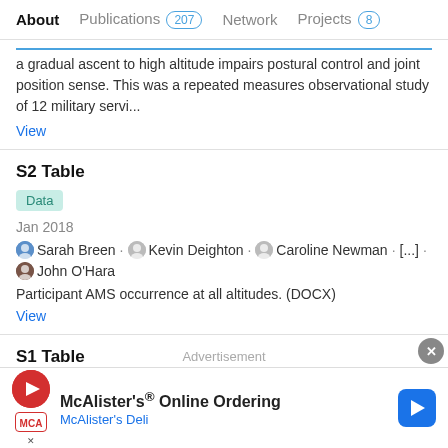About   Publications 207   Network   Projects 8
a gradual ascent to high altitude impairs postural control and joint position sense. This was a repeated measures observational study of 12 military servi...
View
S2 Table
Data
Jan 2018
Sarah Breen · Kevin Deighton · Caroline Newman · [...] · John O'Hara
Participant AMS occurrence at all altitudes. (DOCX)
View
S1 Table
Advertisement
McAlister's® Online Ordering
McAlister's Deli